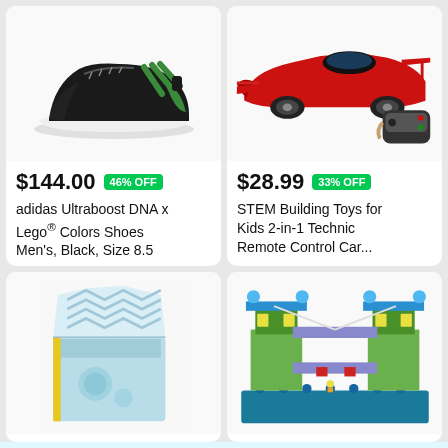[Figure (photo): Adidas Ultraboost DNA x Lego Colors Shoes in black and green on white background]
$144.00  46% OFF
adidas Ultraboost DNA x Lego® Colors Shoes Men's, Black, Size 8.5
[Figure (photo): Red RC Formula-style racing car with remote control, STEM building toy]
$28.99  33% OFF
STEM Building Toys for Kids 2-in-1 Technic Remote Control Car...
[Figure (photo): Light blue fabric gift bag with chevron pattern flap, partially open]
[Figure (photo): Colorful LEGO-style building blocks assembled as Tower Bridge]
Buy on Amazon
Start Watching